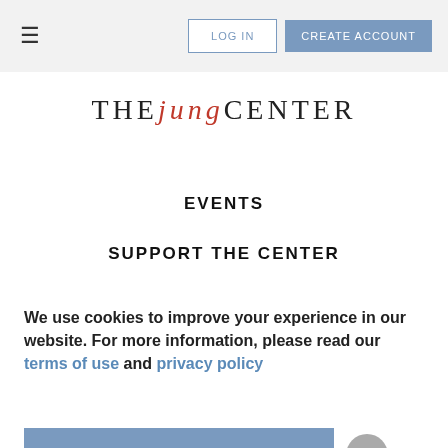≡  LOG IN  CREATE ACCOUNT
[Figure (logo): The Jung Center logo with 'THE' and 'CENTER' in gray, 'jung' in italic red, all caps serif lettering]
EVENTS
SUPPORT THE CENTER
We use cookies to improve your experience in our website. For more information, please read our terms of use and privacy policy
Yes, I accept cookies